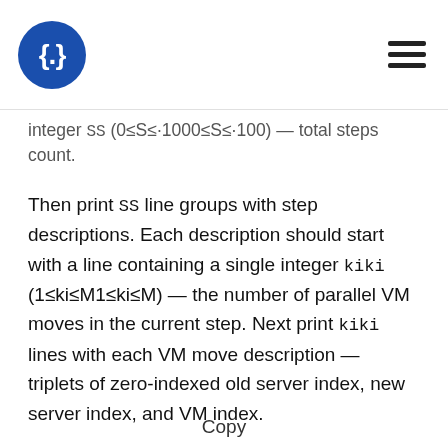{.} [logo] [hamburger menu]
integer SS (0≤S≤·1000≤S≤·100) — total steps count.
Then print SS line groups with step descriptions. Each description should start with a line containing a single integer kiki (1≤ki≤M1≤ki≤M) — the number of parallel VM moves in the current step. Next print kiki lines with each VM move description — triplets of zero-indexed old server index, new server index, and VM index.
The jury guarantees that the solution exists for each test.
Examples
input
Copy